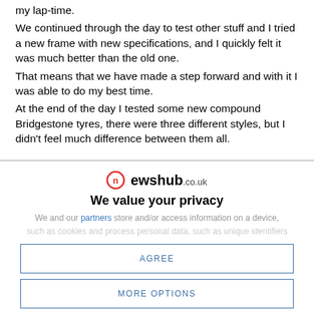my lap-time.
We continued through the day to test other stuff and I tried a new frame with new specifications, and I quickly felt it was much better than the old one.
That means that we have made a step forward and with it I was able to do my best time.
At the end of the day I tested some new compound Bridgestone tyres, there were three different styles, but I didn't feel much difference between them all.
[Figure (logo): newshub.co.uk logo with red circular icon]
We value your privacy
We and our partners store and/or access information on a device, such as cookies and process personal data, such as unique identifiers
AGREE
MORE OPTIONS